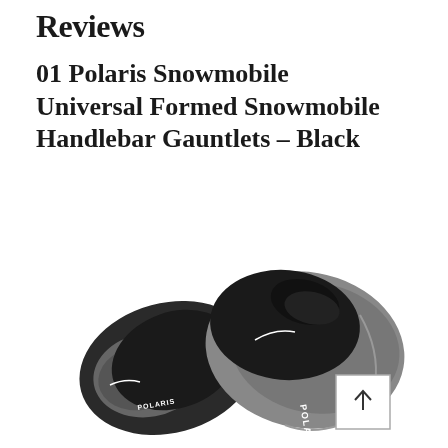Reviews
01 Polaris Snowmobile Universal Formed Snowmobile Handlebar Gauntlets – Black
[Figure (photo): Two black and grey Polaris snowmobile handlebar gauntlets (mitts) shown side by side on a white background. The left gauntlet is smaller and faces left, the right gauntlet is larger and faces right. Both have the POLARIS logo visible on them.]